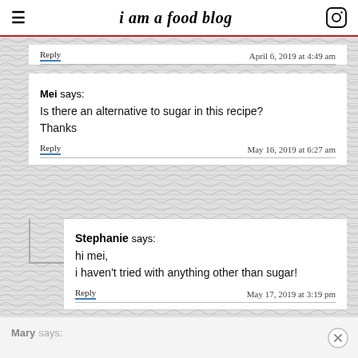i am a food blog
Reply  April 6, 2019 at 4:49 am
Mei says:
Is there an alternative to sugar in this recipe? Thanks
Reply  May 16, 2019 at 6:27 am
Stephanie says:
hi mei,
i haven't tried with anything other than sugar!
Reply  May 17, 2019 at 3:19 pm
Mary says: